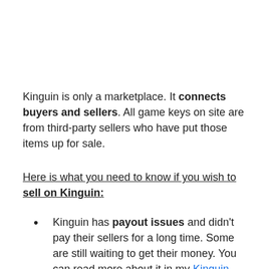Kinguin is only a marketplace. It connects buyers and sellers. All game keys on site are from third-party sellers who have put those items up for sale.
Here is what you need to know if you wish to sell on Kinguin:
Kinguin has payout issues and didn't pay their sellers for a long time. Some are still waiting to get their money. You can read more about it in my Kinguin payout